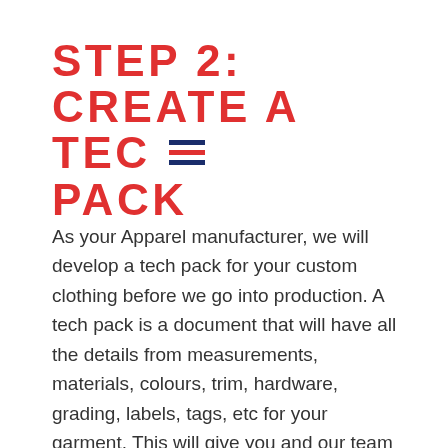STEP 2: CREATE A TECH PACK
As your Apparel manufacturer, we will develop a tech pack for your custom clothing before we go into production. A tech pack is a document that will have all the details from measurements, materials, colours, trim, hardware, grading, labels, tags, etc for your garment. This will give you and our team absolute clarity on the design that needs to be produced.